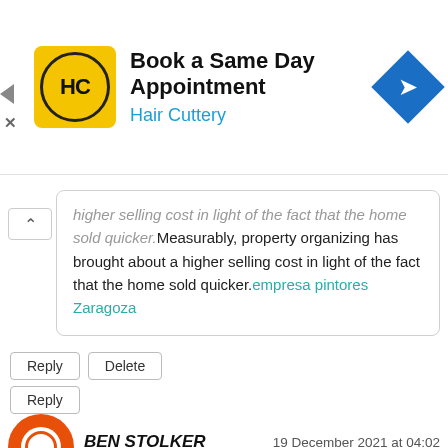[Figure (other): Hair Cuttery advertisement banner: logo (HC in circle on yellow square), text 'Book a Same Day Appointment / Hair Cuttery', navigation icon (blue diamond with arrow)]
higher selling cost in light of the fact that the home sold quicker.Measurably, property organizing has brought about a higher selling cost in light of the fact that the home sold quicker. empresa pintores Zaragoza
Reply
Delete
Reply
[Figure (logo): Blogger 'B' avatar icon in orange circle]
BEN STOLKER
19 December 2021 at 04:02
Realtors are advocates, experts, agents, consultants, go betweens, social laborers, life mentors, credit fix